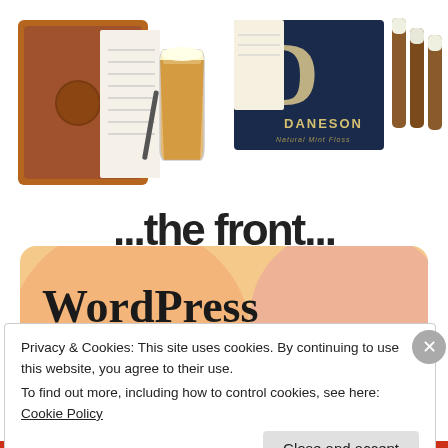[Figure (photo): Two product photos side by side: left shows a brown leather beer tasting journal/notebook with a pint glass of amber beer, right shows a Daneson branded box with wooden toothpick-style items.]
...the front...
[Figure (screenshot): WordPress advertisement banner with peach/pink gradient background showing text 'WordPress in the back.']
Privacy & Cookies: This site uses cookies. By continuing to use this website, you agree to their use.
To find out more, including how to control cookies, see here:
Cookie Policy
Close and accept